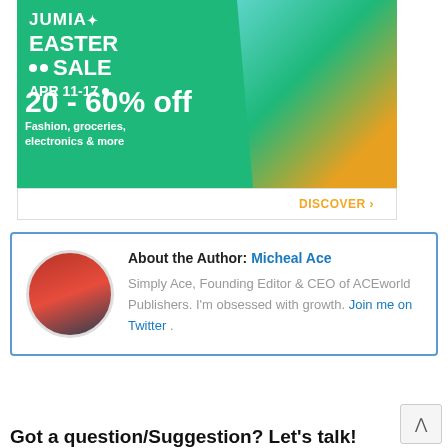[Figure (illustration): Jumia Easter Sale advertisement banner. Green background with a woman holding colorful shopping bags. Text reads: JUMIA EASTER SALE APR 11-17, 20-60% off, Fashion, groceries, electronics & more. DISCOVER > button at bottom right.]
About the Author: Micheal Ace
Simply Ace, Founding Editor & CEO of ACEworld Publishers. I'm obsessed with growth. Join me on Twitter .
Got a question/Suggestion? Let's talk!